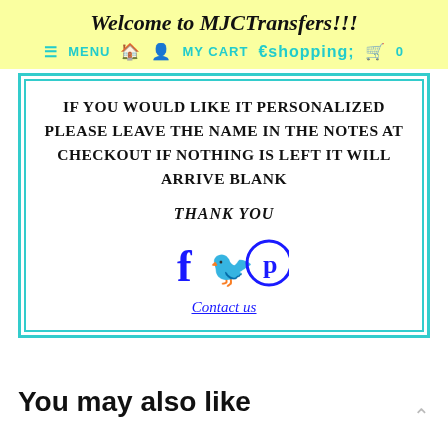Welcome to MJCTransfers!!!
≡ MENU  🏠  👤  MY CART  🛍  0
IF YOU WOULD LIKE IT PERSONALIZED PLEASE LEAVE THE NAME IN THE NOTES AT CHECKOUT IF NOTHING IS LEFT IT WILL ARRIVE BLANK
THANK YOU
[Figure (illustration): Three social media icons: Facebook (f), Twitter (bird), Pinterest (P circle)]
Contact us
You may also like